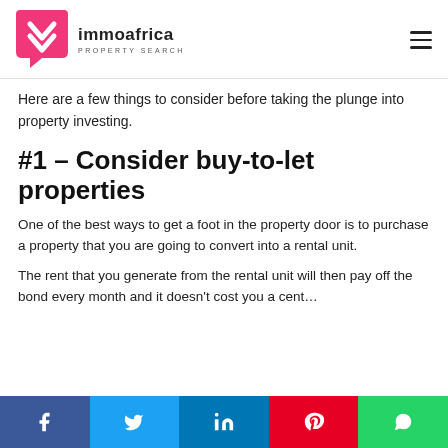immoafrica PROPERTY SEARCH
Here are a few things to consider before taking the plunge into property investing.
#1 – Consider buy-to-let properties
One of the best ways to get a foot in the property door is to purchase a property that you are going to convert into a rental unit.
The rent that you generate from the rental unit will then pay off the bond every month and it doesn't cost you a cent…
Social share bar: Facebook, Twitter, LinkedIn, Pinterest, WhatsApp